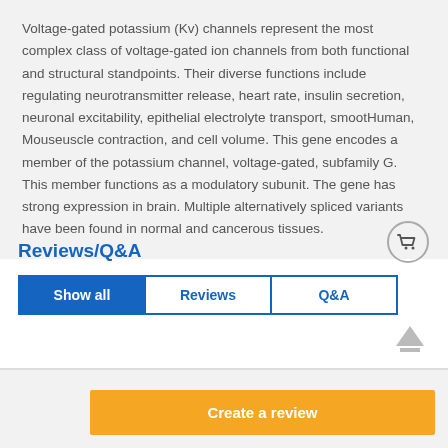Voltage-gated potassium (Kv) channels represent the most complex class of voltage-gated ion channels from both functional and structural standpoints. Their diverse functions include regulating neurotransmitter release, heart rate, insulin secretion, neuronal excitability, epithelial electrolyte transport, smootHuman, Mouseuscle contraction, and cell volume. This gene encodes a member of the potassium channel, voltage-gated, subfamily G. This member functions as a modulatory subunit. The gene has strong expression in brain. Multiple alternatively spliced variants have been found in normal and cancerous tissues.
Reviews/Q&A
[Figure (other): Shopping cart icon in a circle]
[Figure (other): Up arrow / eject icon]
Show all | Reviews | Q&A (tab buttons)
Create a review (button)